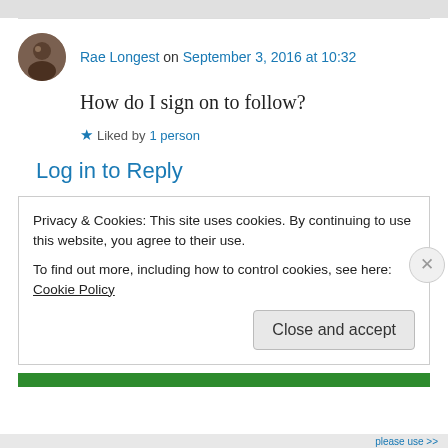[Figure (photo): Gray bar at top of page]
Rae Longest on September 3, 2016 at 10:32
How do I sign on to follow?
★ Liked by 1 person
Log in to Reply
Privacy & Cookies: This site uses cookies. By continuing to use this website, you agree to their use.
To find out more, including how to control cookies, see here: Cookie Policy
Close and accept